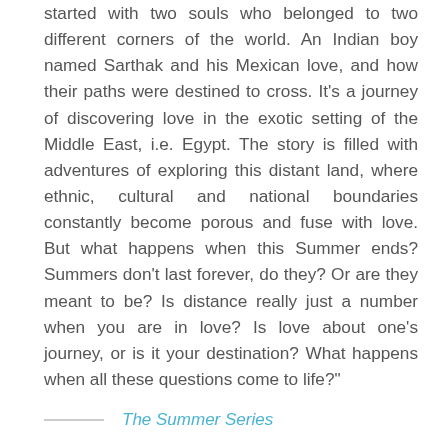started with two souls who belonged to two different corners of the world. An Indian boy named Sarthak and his Mexican love, and how their paths were destined to cross. It's a journey of discovering love in the exotic setting of the Middle East, i.e. Egypt. The story is filled with adventures of exploring this distant land, where ethnic, cultural and national boundaries constantly become porous and fuse with love. But what happens when this Summer ends? Summers don't last forever, do they? Or are they meant to be? Is distance really just a number when you are in love? Is love about one's journey, or is it your destination? What happens when all these questions come to life?"
The Summer Series